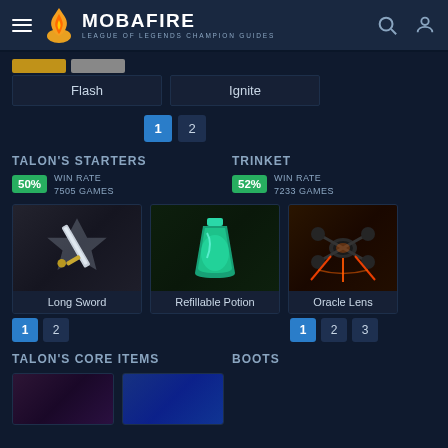MOBAFIRE – LEAGUE OF LEGENDS CHAMPION GUIDES
Flash    Ignite
1   2
TALON'S STARTERS
TRINKET
50% WIN RATE 7505 GAMES
52% WIN RATE 7233 GAMES
Long Sword    Refillable Potion
Oracle Lens
1   2
1   2   3
TALON'S CORE ITEMS
BOOTS